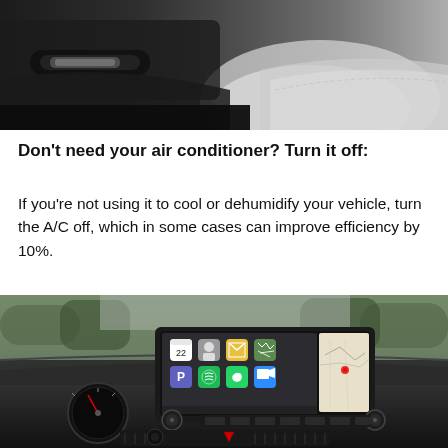[Figure (photo): Close-up of a car interior showing door panel, armrest, and seat in black and white/gray tones]
Don't need your air conditioner? Turn it off:
If you're not using it to cool or dehumidify your vehicle, turn the A/C off, which in some cases can improve efficiency by 10%.
[Figure (photo): Car interior dashboard showing a touchscreen infotainment system displaying Apple CarPlay with various app icons, steering wheel on left, and climate control vents at bottom]